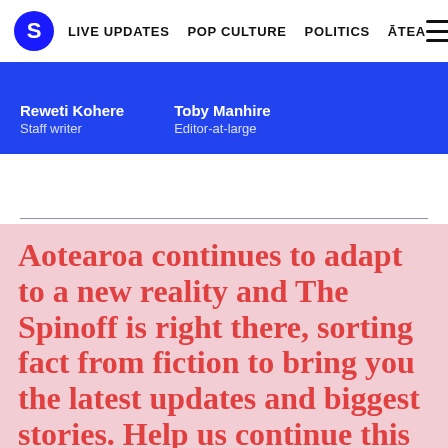S  LIVE UPDATES  POP CULTURE  POLITICS  ĀTEA  ☰
Reweti Kohere Staff writer  /  Toby Manhire Editor-at-large
Aotearoa continues to adapt to a new reality and The Spinoff is right there, sorting fact from fiction to bring you the latest updates and biggest stories. Help us continue this coverage, and so